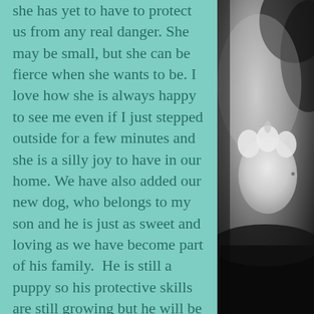she has yet to have to protect us from any real danger. She may be small, but she can be fierce when she wants to be. I love how she is always happy to see me even if I just stepped outside for a few minutes and she is a silly joy to have in our home. We have also added our new dog, who belongs to my son and he is just as sweet and loving as we have become part of his family.  He is still a puppy so his protective skills are still growing but he will be by your side the minute you walk in the door and comes happily whenever he is called.
     This is my dog but have you ever observed other dogs? They are very protective of new babies in the family, they can sense danger and will try to
[Figure (photo): Black and white photo of a dog, showing a paw or partial dog body against a dark background]